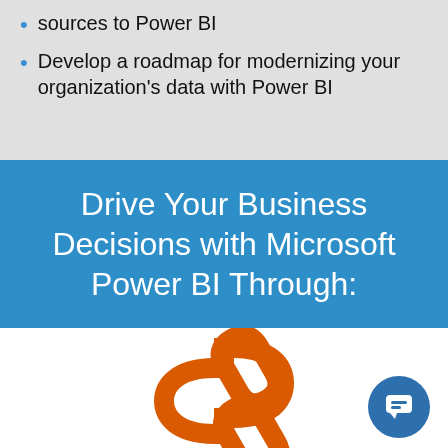sources to Power BI
Develop a roadmap for modernizing your organization's data with Power BI
Drive Your Business Decisions with Microsoft Power BI Through:
[Figure (illustration): Orange chain link icon on white background with a blue chat bubble icon in the bottom right corner]